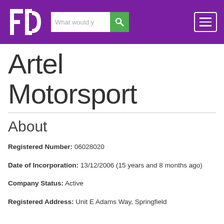[Figure (logo): FD logo - white letters F and D on purple background]
Artel Motorsport
About
Registered Number: 06028020
Date of Incorporation: 13/12/2006 (15 years and 8 months ago)
Company Status: Active
Registered Address: Unit E Adams Way, Springfield